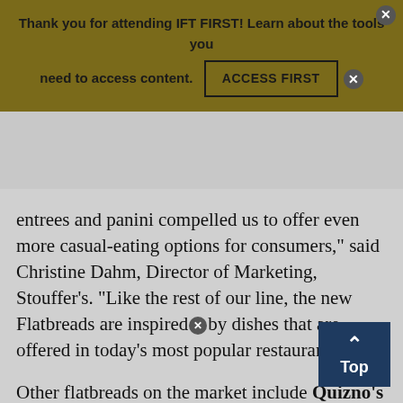[Figure (screenshot): Website banner overlay with dark olive/gold background. Text reads: 'Thank you for attending IFT FIRST! Learn about the tools you need to access content.' with an 'ACCESS FIRST' button and close (X) circles.]
entrees and panini compelled us to offer even more casual-eating options for consumers," said Christine Dahm, Director of Marketing, Stouffer's. "Like the rest of our line, the new Flatbreads are inspired by dishes that are offered in today's most popular restaurants."
Other flatbreads on the market include Quizno's Flatbread Chopped Salads, Dunkin' Donuts flatbread sandwiches, Arby's Flatbread Me[lts], and American Flatbread frozen pizzas.
Freshness and Convenience